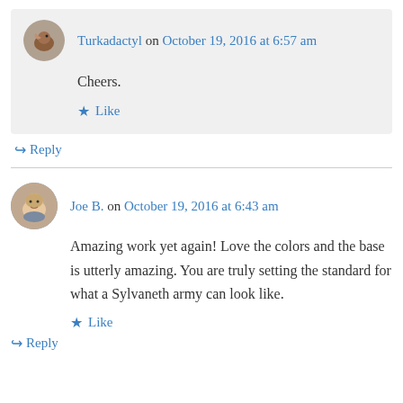Turkadactyl on October 19, 2016 at 6:57 am
Cheers.
Like
Reply
Joe B. on October 19, 2016 at 6:43 am
Amazing work yet again! Love the colors and the base is utterly amazing. You are truly setting the standard for what a Sylvaneth army can look like.
Like
Reply